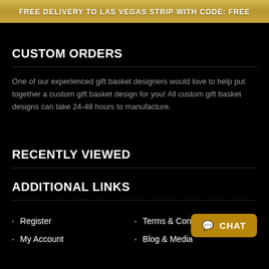FREE DELIVERY TO LAS VEGAS STRIP WITH CODE: FREE
CUSTOM ORDERS
One of our experienced gift basket designers would love to help put together a custom gift basket design for you! All custom gift basket designs can take 24-48 hours to manufacture.
RECENTLY VIEWED
ADDITIONAL LINKS
Register
My Account
Terms & Conditions
Blog & Media